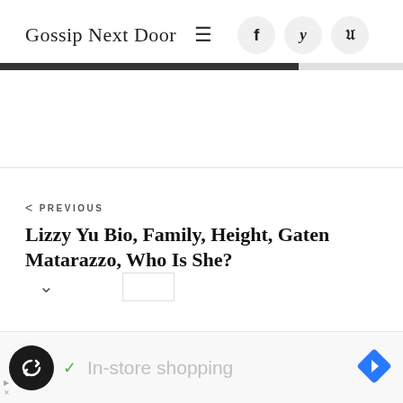Gossip Next Door
PREVIOUS
Lizzy Yu Bio, Family, Height, Gaten Matarazzo, Who Is She?
[Figure (screenshot): Ad bar with loop icon, checkmark, In-store shopping text, and blue navigation diamond icon]